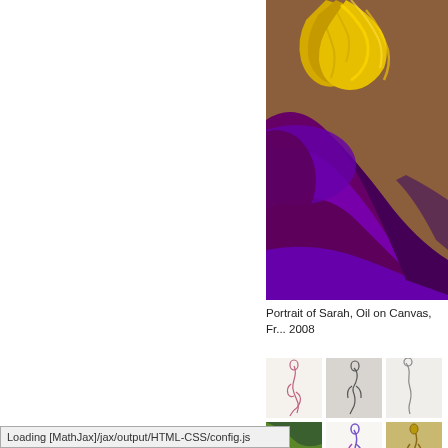[Figure (photo): Close-up of an oil painting showing a figure with golden/yellow hair wearing a purple garment, cropped so only partial hair and shoulder area visible.]
Portrait of Sarah, Oil on Canvas, Fr... 2008
[Figure (illustration): Thumbnail sketch of a seated nude figure in pink/red lines on white background.]
[Figure (illustration): Thumbnail pencil sketch of a standing/crouching figure on gray background.]
[Figure (illustration): Thumbnail sketch of a figure in pencil on white/light background, partially visible.]
[Figure (illustration): Thumbnail of a colorful abstract or fabric study with green and yellow tones.]
[Figure (illustration): Thumbnail of a figure study with purple and blue colors on white.]
[Figure (illustration): Thumbnail of a golden/bronze figure sculpture or painting, partially visible.]
Loading [MathJax]/jax/output/HTML-CSS/config.js